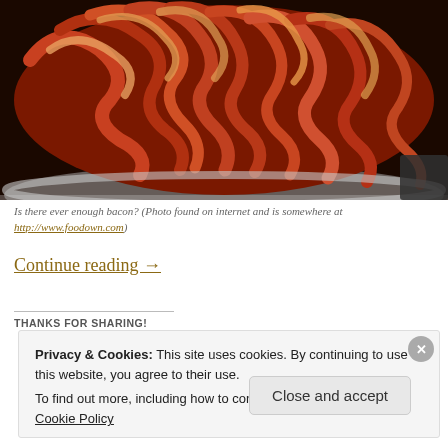[Figure (photo): Photo of crispy cooked bacon strips piled in a large metal chafing dish or bowl, viewed from above at an angle. The bacon is curled and reddish-brown with orange and golden hues.]
Is there ever enough bacon? (Photo found on internet and is somewhere at http://www.foodown.com)
Continue reading →
THANKS FOR SHARING!
Privacy & Cookies: This site uses cookies. By continuing to use this website, you agree to their use.
To find out more, including how to control cookies, see here: Cookie Policy